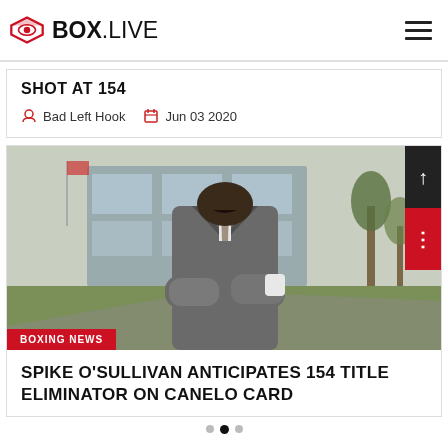BOX.LIVE
SHOT AT 154
Bad Left Hook   Jun 03 2020
[Figure (photo): Man in grey plaid suit with arms crossed standing outside a building]
BOXING NEWS
SPIKE O'SULLIVAN ANTICIPATES 154 TITLE ELIMINATOR ON CANELO CARD